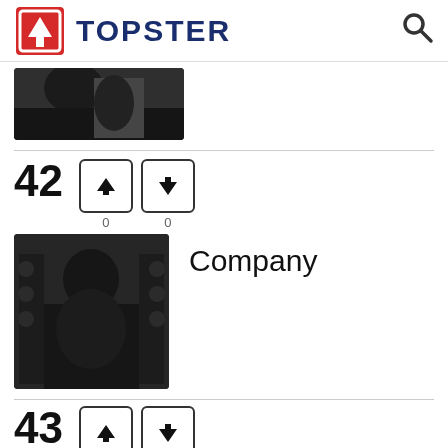TOPSTER
[Figure (photo): Partial black and white photo of a person, cropped at top]
42  ↑ 0  ↓ 0
Company
[Figure (photo): Black and white photo of a person with equipment, album art for 'Company']
43  ↑  ↓